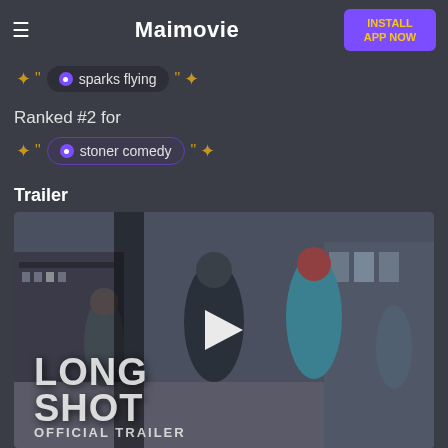Maimovie
sparks flying
Ranked #2 for
stoner comedy
Trailer
[Figure (screenshot): Movie trailer thumbnail for 'Long Shot' showing two men walking on a busy street. Large text overlay reads 'LONG SHOT OFFICIAL TRAILER' with a play button in the center.]